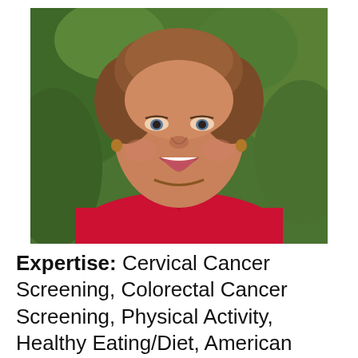[Figure (photo): Professional headshot of a woman smiling, wearing a red jacket, with green foliage in the background.]
Expertise: Cervical Cancer Screening, Colorectal Cancer Screening, Physical Activity, Healthy Eating/Diet, American Cancer Society, FQHCs/Community Health Centers, Retail Settings, Faith-Based Settings, Worksites, Survey